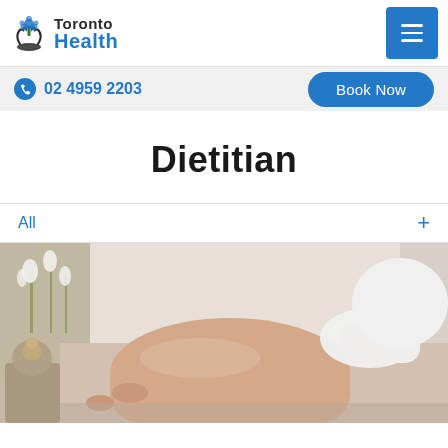Toronto Health
02 4959 2203
Book Now
Dietitian
All
[Figure (photo): A massage therapy session showing a therapist working on a patient lying on a table, with decorative flowers and a Buddha statue in the background.]